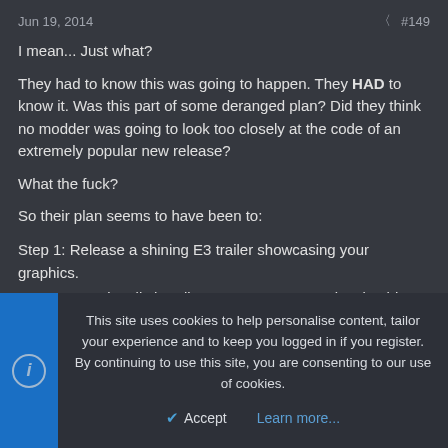Jun 19, 2014   < #149
I mean... Just what?
They had to know this was going to happen. They HAD to know it. Was this part of some deranged plan? Did they think no modder was going to look too closely at the code of an extremely popular new release?
What the fuck?
So their plan seems to have been to:
Step 1: Release a shining E3 trailer showcasing your graphics.
Step 2: Intentionally handicap your own game, despite this creating an immense amount of negative PR due to step 1.
Step 3: Make sure that the code proving what you just did is easily available, thus creating even more negative PR and completely destroying your reputation.
This site uses cookies to help personalise content, tailor your experience and to keep you logged in if you register.
By continuing to use this site, you are consenting to our use of cookies.